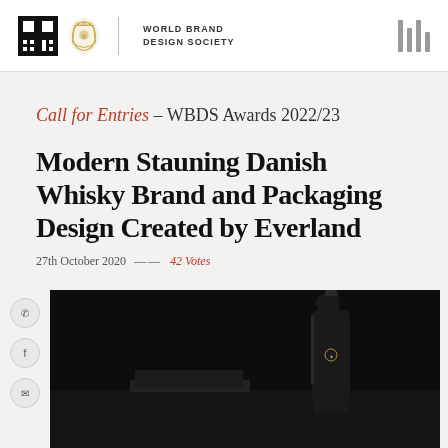WORLD BRAND DESIGN SOCIETY
Call for Entries – WBDS Awards 2022/23
Modern Stauning Danish Whisky Brand and Packaging Design Created by Everland
27th October 2020  —  42 Votes
[Figure (photo): Dark background product photo showing a dark whisky bottle on a dark surface]